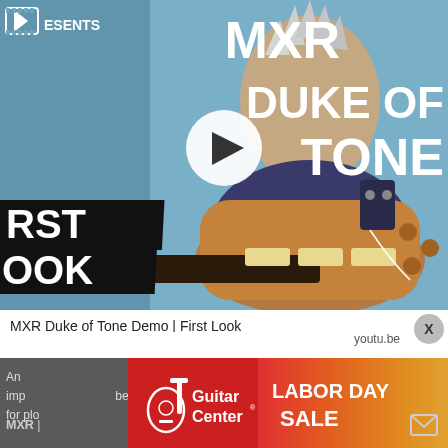[Figure (screenshot): YouTube video thumbnail showing a man holding a guitar with MXR Duke of Tone pedal, with text overlays 'MXR DUKE OF TONE', 'FIRST LOOK', and a play button in the center. A film reel icon and 'PRESENTS' text appear top left.]
MXR Duke of Tone Demo | First Look
youtu.be
An imp... bers for plo...
[Figure (infographic): Guitar Center Labor Day Sale advertisement banner with Guitar Center logo on red background on the left and 'LABOR DAY SALE' text on orange-red gradient background]
MXR |